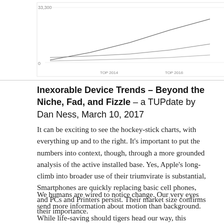[Figure (continuous-plot): Partial line chart visible at top of page showing trend data with y-axis label '33,300' and '0', x-axis labels 'TOP 2014', 'TOP 2016', 'TOP 2018'. Multiple lines trending upward. Chart is cropped at top.]
Inexorable Device Trends – Beyond the Niche, Fad, and Fizzle – a TUPdate by Dan Ness, March 10, 2017
It can be exciting to see the hockey-stick charts, with everything up and to the right. It's important to put the numbers into context, though, through a more grounded analysis of the active installed base. Yes, Apple's long-climb into broader use of their triumvirate is substantial, Smartphones are quickly replacing basic cell phones, and PCs and Printers persist. Their market size confirms their importance.
We humans are wired to notice change. Our very eyes send more information about motion than background. While life-saving should tigers head our way, this